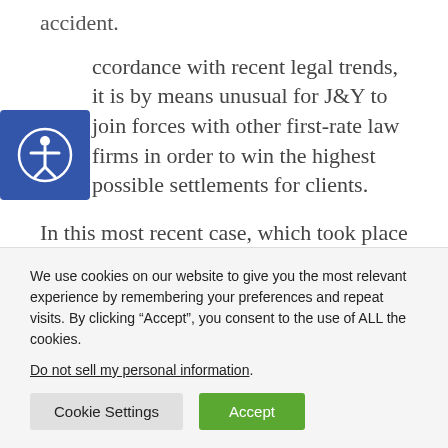accident.
In accordance with recent legal trends, it is by no means unusual for J&Y to join forces with other first-rate law firms in order to win the highest possible settlements for clients.
In this most recent case, which took place in the city of La Habra in April of 2016, the client was riding a mountain bike southbound on
We use cookies on our website to give you the most relevant experience by remembering your preferences and repeat visits. By clicking “Accept”, you consent to the use of ALL the cookies.
Do not sell my personal information.